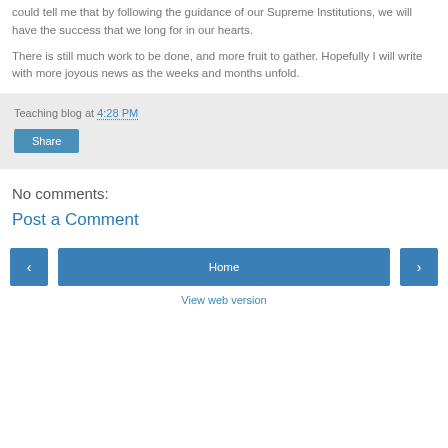could tell me that by following the guidance of our Supreme Institutions, we will have the success that we long for in our hearts.
There is still much work to be done, and more fruit to gather. Hopefully I will write with more joyous news as the weeks and months unfold.
Teaching blog at 4:28 PM
Share
No comments:
Post a Comment
‹
Home
›
View web version